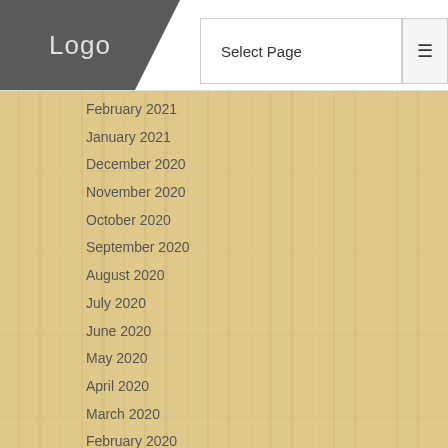Logo | Select Page
February 2021
January 2021
December 2020
November 2020
October 2020
September 2020
August 2020
July 2020
June 2020
May 2020
April 2020
March 2020
February 2020
January 2020
December 2019
November 2019
October 2019
September 2019
August 2019
July 2019
June 2019
May 2019